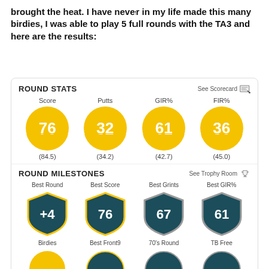brought the heat. I have never in my life made this many birdies, I was able to play 5 full rounds with the TA3 and here are the results:
[Figure (infographic): Golf round stats scorecard showing Score 76 (84.5), Putts 32 (34.2), GIR% 61 (42.7), FIR% 36 (45.0) in yellow circles, and Round Milestones showing Best Round +4, Best Score 76, Best Grints 67, Best GIR% 61 in dark teal shield shapes, with Birdies, Best Front9, 70's Round, TB Free labels below.]